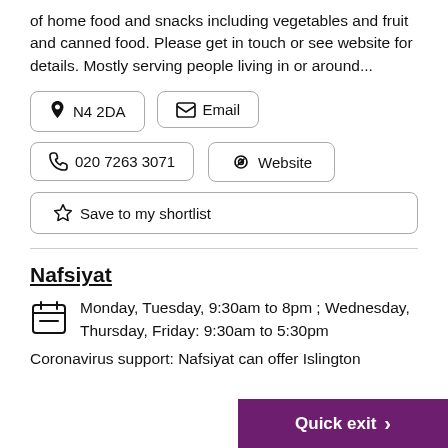of home food and snacks including vegetables and fruit and canned food. Please get in touch or see website for details. Mostly serving people living in or around...
N4 2DA
Email
020 7263 3071
Website
Save to my shortlist
Nafsiyat
Monday, Tuesday, 9:30am to 8pm ; Wednesday, Thursday, Friday: 9:30am to 5:30pm
Coronavirus support: Nafsiyat can offer Islington